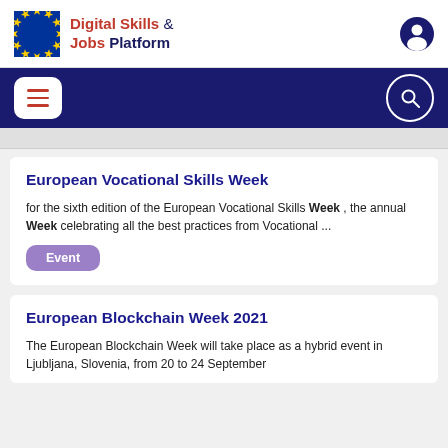Digital Skills & Jobs Platform
European Vocational Skills Week
for the sixth edition of the European Vocational Skills Week , the annual Week celebrating all the best practices from Vocational ...
Event
European Blockchain Week 2021
The European Blockchain Week will take place as a hybrid event in Ljubljana, Slovenia, from 20 to 24 September